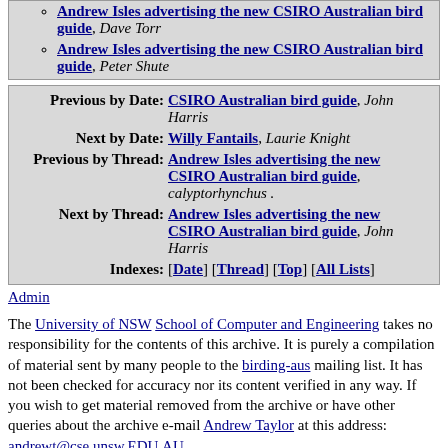Andrew Isles advertising the new CSIRO Australian bird guide, Dave Torr
Andrew Isles advertising the new CSIRO Australian bird guide, Peter Shute
| Label | Value |
| --- | --- |
| Previous by Date: | CSIRO Australian bird guide, John Harris |
| Next by Date: | Willy Fantails, Laurie Knight |
| Previous by Thread: | Andrew Isles advertising the new CSIRO Australian bird guide, calyptorhynchus . |
| Next by Thread: | Andrew Isles advertising the new CSIRO Australian bird guide, John Harris |
| Indexes: | [Date] [Thread] [Top] [All Lists] |
Admin
The University of NSW School of Computer and Engineering takes no responsibility for the contents of this archive. It is purely a compilation of material sent by many people to the birding-aus mailing list. It has not been checked for accuracy nor its content verified in any way. If you wish to get material removed from the archive or have other queries about the archive e-mail Andrew Taylor at this address: andrewt@cse.unsw.EDU.AU